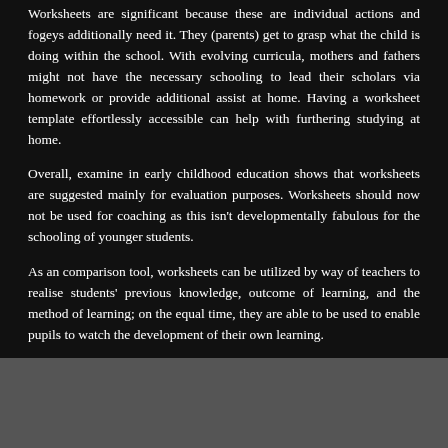Worksheets are significant because these are individual actions and fogeys additionally need it. They (parents) get to grasp what the child is doing within the school. With evolving curricula, mothers and fathers might not have the necessary schooling to lead their scholars via homework or provide additional assist at home. Having a worksheet template effortlessly accessible can help with furthering studying at home.
Overall, examine in early childhood education shows that worksheets are suggested mainly for evaluation purposes. Worksheets should now not be used for coaching as this isn't developmentally fabulous for the schooling of younger students.
As an comparison tool, worksheets can be utilized by way of teachers to realise students' previous knowledge, outcome of learning, and the method of learning; on the equal time, they are able to be used to enable pupils to watch the development of their own learning.